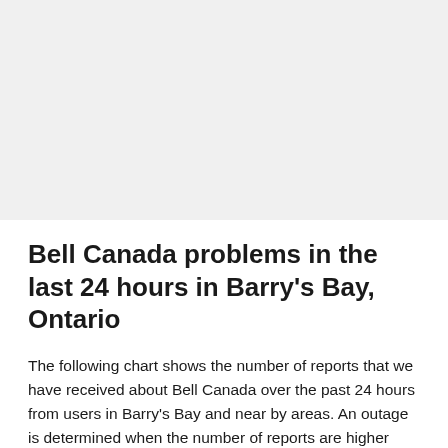[Figure (other): Gray placeholder box representing a chart area (no chart content visible)]
Bell Canada problems in the last 24 hours in Barry's Bay, Ontario
The following chart shows the number of reports that we have received about Bell Canada over the past 24 hours from users in Barry's Bay and near by areas. An outage is determined when the number of reports are higher than the baseline, represented by the red line.